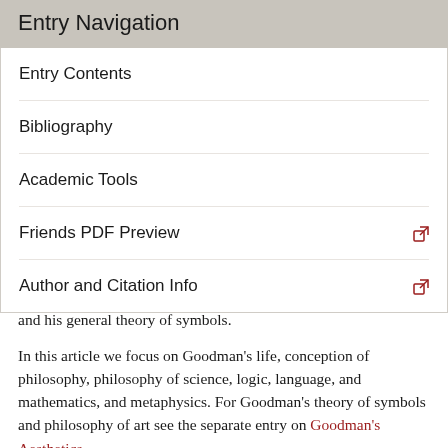Entry Navigation
Entry Contents
Bibliography
Academic Tools
Friends PDF Preview
Author and Citation Info
W. V. Quine), his contribution to the cognitive turn in aesthetics, and his general theory of symbols.
In this article we focus on Goodman's life, conception of philosophy, philosophy of science, logic, language, and mathematics, and metaphysics. For Goodman's theory of symbols and philosophy of art see the separate entry on Goodman's Aesthetics.
1. Life
2. Anti-Absolutism
2.1 The Myth of the Given in Experience